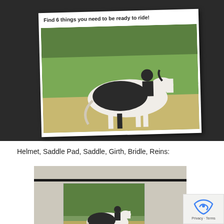[Figure (photo): A printed card on a dark surface showing text 'Find 6 things you need to be ready to ride!' above a photo of a black and white horse with a rider in a grassy outdoor setting.]
Helmet, Saddle Pad, Saddle, Girth, Bridle, Reins:
[Figure (photo): A bulletin board or wall display showing small printed cards of a horse, helmet, and saddle with labels. A 'Find 6 things you need to be ready to ride!' card is visible along with a 'Saddle' label card.]